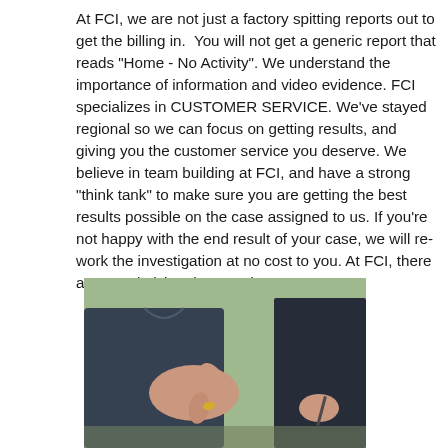At FCI, we are not just a factory spitting reports out to get the billing in. You will not get a generic report that reads "Home - No Activity". We understand the importance of information and video evidence. FCI specializes in CUSTOMER SERVICE. We've stayed regional so we can focus on getting results, and giving you the customer service you deserve. We believe in team building at FCI, and have a strong "think tank" to make sure you are getting the best results possible on the case assigned to us. If you're not happy with the end result of your case, we will re-work the investigation at no cost to you. At FCI, there are no "gimicks", just results.
[Figure (photo): Photo of people at a meeting table, two individuals in dark clothing visible from torso down, one making a hand gesture, the other holding a pen, out-of-focus green background]